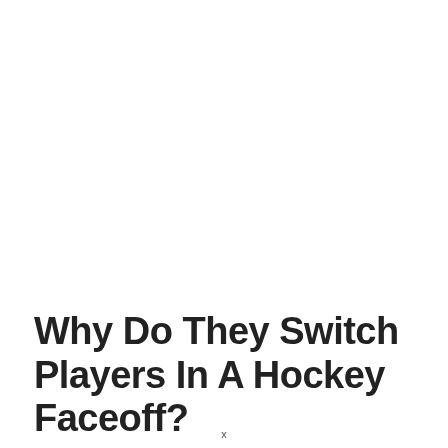Why Do They Switch Players In A Hockey Faceoff?
x